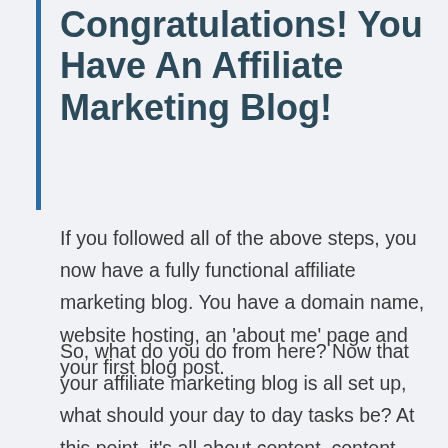Congratulations! You Have An Affiliate Marketing Blog!
If you followed all of the above steps, you now have a fully functional affiliate marketing blog. You have a domain name, website hosting, an ‘about me’ page and your first blog post.
So, what do you do from here? Now that your affiliate marketing blog is all set up, what should your day to day tasks be? At this point, it’s all about content, content, and more content.